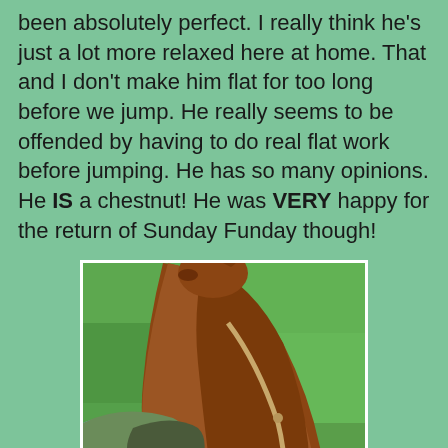been absolutely perfect. I really think he's just a lot more relaxed here at home. That and I don't make him flat for too long before we jump. He really seems to be offended by having to do real flat work before jumping. He has so many opinions. He IS a chestnut! He was VERY happy for the return of Sunday Funday though!
[Figure (photo): Rider's perspective looking down at a chestnut horse's neck and head from the saddle, with green grass visible on the ground below. A light tan martingale or strap is visible. The rider is wearing blue breeches and tall boots, and a green saddle pad is visible.]